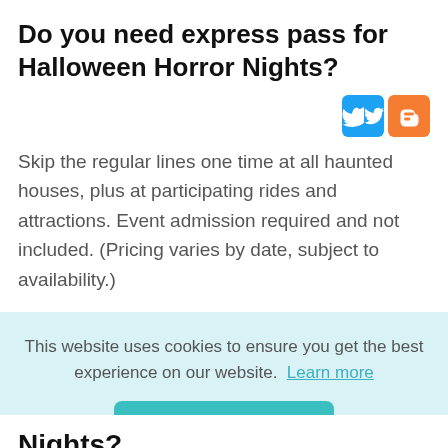Do you need express pass for Halloween Horror Nights?
[Figure (logo): Twitter and Blogger social media icons]
Skip the regular lines one time at all haunted houses, plus at participating rides and attractions. Event admission required and not included. (Pricing varies by date, subject to availability.)
This website uses cookies to ensure you get the best experience on our website. Learn more
Got it!
Nights?